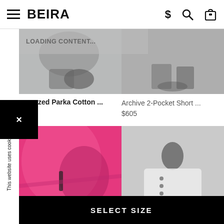BEIRA
LOADING CONTENT...
[Figure (photo): Top left product image - fashion parka cotton item, partially visible, gray background]
[Figure (photo): Top right product image - Archive 2-Pocket Short, person wearing shoes visible at top, gray background]
zed Parka Cotton ...
Archive 2-Pocket Short ... $605
[Figure (photo): Bottom left product image - bright pink/magenta jacket or bag close-up]
[Figure (photo): Bottom right product image - person in white oversized shirt/jacket, gray background]
oe Oxford Slim
$ 350
Size guide
This website uses cookies. More Info
SELECT SIZE